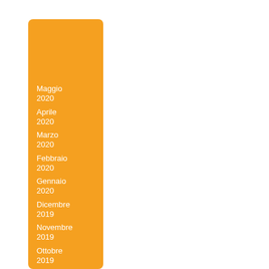Maggio 2020
Aprile 2020
Marzo 2020
Febbraio 2020
Gennaio 2020
Dicembre 2019
Novembre 2019
Ottobre 2019
Settembre